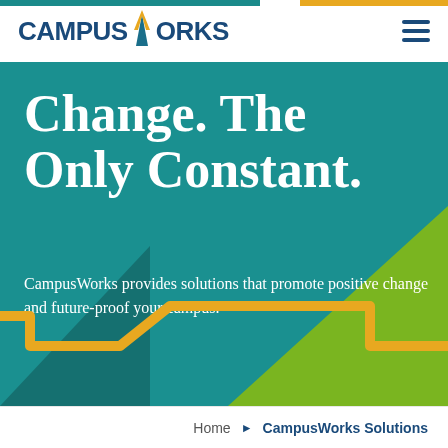CampusWorks
Change. The Only Constant.
CampusWorks provides solutions that promote positive change and future-proof your campus.
[Figure (illustration): Yellow step/stair shape graphic overlaid on teal hero background with green and dark teal triangular shapes]
Home ▶ CampusWorks Solutions